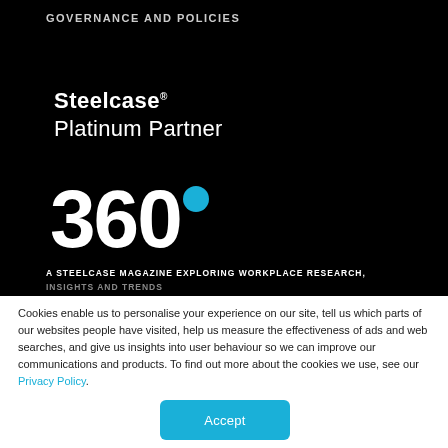GOVERNANCE AND POLICIES
[Figure (logo): Steelcase Platinum Partner logo in white on black background]
[Figure (logo): 360 degree logo — large white '360' with a cyan/teal filled circle as the degree symbol]
A STEELCASE MAGAZINE EXPLORING WORKPLACE RESEARCH, INSIGHTS AND TRENDS
Cookies enable us to personalise your experience on our site, tell us which parts of our websites people have visited, help us measure the effectiveness of ads and web searches, and give us insights into user behaviour so we can improve our communications and products. To find out more about the cookies we use, see our Privacy Policy.
Accept